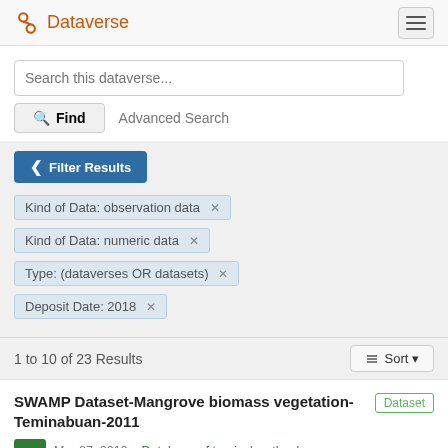Dataverse
Search this dataverse...
Find   Advanced Search
Filter Results
Kind of Data: observation data ×
Kind of Data: numeric data ×
Type: (dataverses OR datasets) ×
Deposit Date: 2018 ×
1 to 10 of 23 Results
Sort
SWAMP Dataset-Mangrove biomass vegetation-Teminabuan-2011
Dataset
Mar 27, 2019 – Database of tropical wetlands